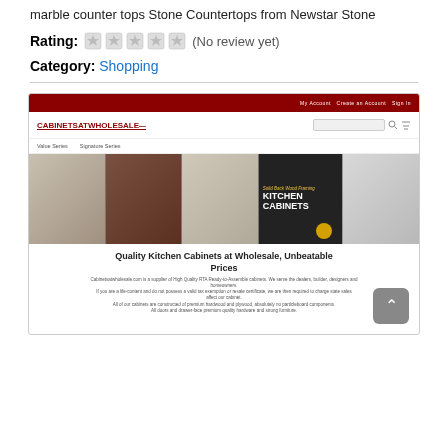marble counter tops Stone Countertops from Newstar Stone
Rating: (No review yet)
Category: Shopping
[Figure (screenshot): Screenshot of cabinetsatwholesale.com website showing kitchen cabinets. The page has a dark red header bar with navigation links, a logo, search bar, navigation menu with 'Value Series' and 'Signature Series', a banner with kitchen photos and text 'Solid Back Wood Framing KITCHEN CABINETS', and below a headline 'Quality Kitchen Cabinets at Wholesale, Unbeatable Prices' with descriptive text about the site.]